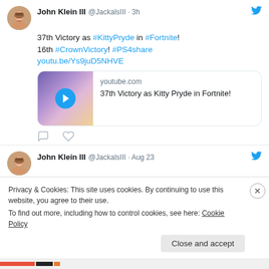John Klein III @JackalsIII · 3h
37th Victory as #KittyPryde in #Fortnite! 16th #CrownVictory! #PS4share youtu.be/Ys9juD5NHVE
[Figure (screenshot): YouTube video thumbnail with play button, showing purple/pink gaming scene from Fortnite. youtube.com | 37th Victory as Kitty Pryde in Fortnite!]
John Klein III @JackalsIII · Aug 23
#PS4share youtu.be/Hm7YMtz5cXs
Privacy & Cookies: This site uses cookies. By continuing to use this website, you agree to their use.
To find out more, including how to control cookies, see here: Cookie Policy
Close and accept